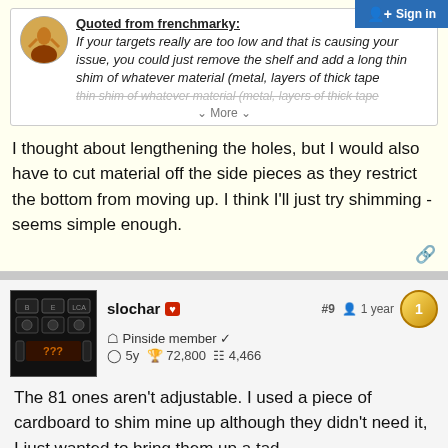[Figure (screenshot): Sign in button (blue) in top-right corner]
Quoted from frenchmarky:
If your targets really are too low and that is causing your issue, you could just remove the shelf and add a long thin shim of whatever material (metal, layers of thick tape
∨ More ∨
I thought about lengthening the holes, but I would also have to cut material off the side pieces as they restrict the bottom from moving up. I think I'll just try shimming - seems simple enough.
slochar
#9  1 year
Pinside member
5y  72,800  4,466
The 81 ones aren't adjustable. I used a piece of cardboard to shim mine up although they didn't need it, I just wanted to bring them up a tad.